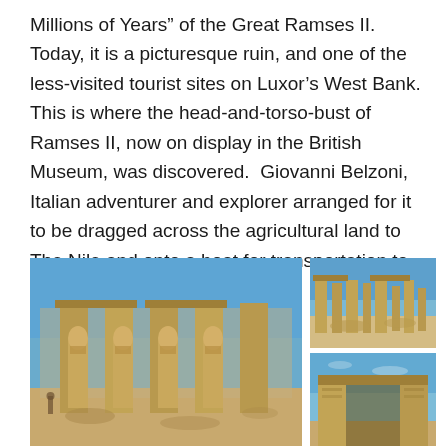Millions of Years" of the Great Ramses II.  Today, it is a picturesque ruin, and one of the less-visited tourist sites on Luxor's West Bank.  This is where the head-and-torso-bust of Ramses II, now on display in the British Museum, was discovered.  Giovanni Belzoni, Italian adventurer and explorer arranged for it to be dragged across the agricultural land to The Nile and onto a boat for transportation to Alexandria.
[Figure (photo): Large photo of the Ramesseum temple ruins showing four large standing Osiride statues of Ramses II with crossed arms, massive stone pillars and columns against a clear blue sky, sandy ground in foreground.]
[Figure (photo): Smaller photo of the Ramesseum ruins showing columns and colonnades from a distance against a blue sky, with rubble on the ground.]
[Figure (photo): Smaller photo of a large stone gateway or pylon of the Ramesseum temple with blue sky in the background.]